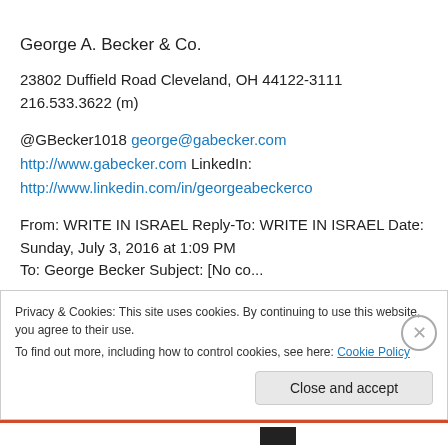George A. Becker & Co.
23802 Duffield Road Cleveland, OH 44122-3111
216.533.3622 (m)
@GBecker1018 george@gabecker.com http://www.gabecker.com LinkedIn: http://www.linkedin.com/in/georgeabeckerco
From: WRITE IN ISRAEL Reply-To: WRITE IN ISRAEL Date: Sunday, July 3, 2016 at 1:09 PM To: George Becker Subject: [No subject]...
Privacy & Cookies: This site uses cookies. By continuing to use this website, you agree to their use.
To find out more, including how to control cookies, see here: Cookie Policy